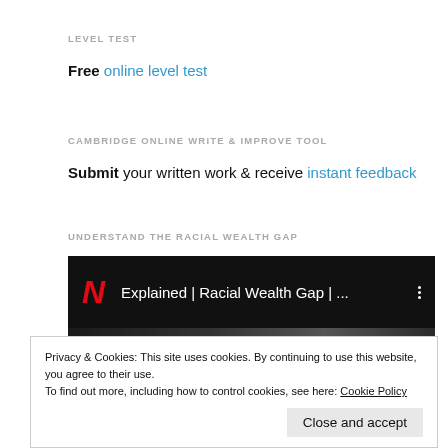LEVEL TEST
Free online level test
CAMBRIDGE ONLINE WRITE & IMPROVE TOOL
Submit your written work & receive instant feedback
UNDERSTAND THE RACIAL WEALTH GAP
[Figure (screenshot): Netflix YouTube thumbnail showing 'Explained | Racial Wealth Gap | ...' with Netflix logo and three-dot menu]
Privacy & Cookies: This site uses cookies. By continuing to use this website, you agree to their use.
To find out more, including how to control cookies, see here: Cookie Policy
Close and accept